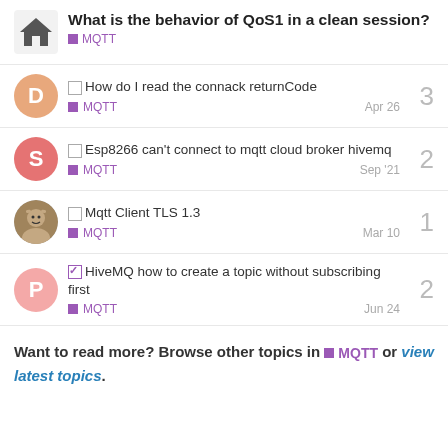What is the behavior of QoS1 in a clean session? MQTT
How do I read the connack returnCode | MQTT | Apr 26 | 3 replies
Esp8266 can't connect to mqtt cloud broker hivemq | MQTT | Sep '21 | 2 replies
Mqtt Client TLS 1.3 | MQTT | Mar 10 | 1 reply
HiveMQ how to create a topic without subscribing first | MQTT | Jun 24 | 2 replies
Want to read more? Browse other topics in MQTT or view latest topics.